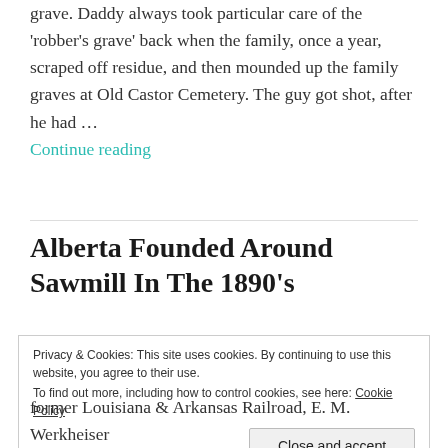grave. Daddy always took particular care of the 'robber's grave' back when the family, once a year, scraped off residue, and then mounded up the family graves at Old Castor Cemetery. The guy got shot, after he had …
Continue reading
Alberta Founded Around Sawmill In The 1890's
Privacy & Cookies: This site uses cookies. By continuing to use this website, you agree to their use.
To find out more, including how to control cookies, see here: Cookie Policy
Close and accept
former Louisiana & Arkansas Railroad, E. M. Werkheiser